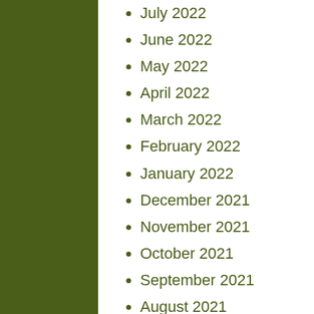July 2022
June 2022
May 2022
April 2022
March 2022
February 2022
January 2022
December 2021
November 2021
October 2021
September 2021
August 2021
July 2021
June 2021
May 2021
April 2021
March 2021
February 2021
January 2021